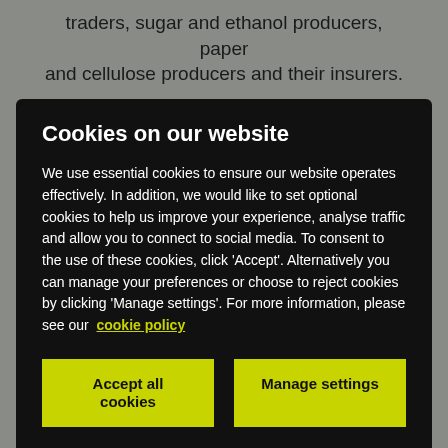traders, sugar and ethanol producers, paper and cellulose producers and their insurers.
Cookies on our website
We use essential cookies to ensure our website operates effectively. In addition, we would like to set optional cookies to help us improve your experience, analyse traffic and allow you to connect to social media. To consent to the use of these cookies, click 'Accept'. Alternatively you can manage your preferences or choose to reject cookies by clicking 'Manage settings'. For more information, please see our cookie policy
Accept all cookies
Manage settings
Recent work highlights